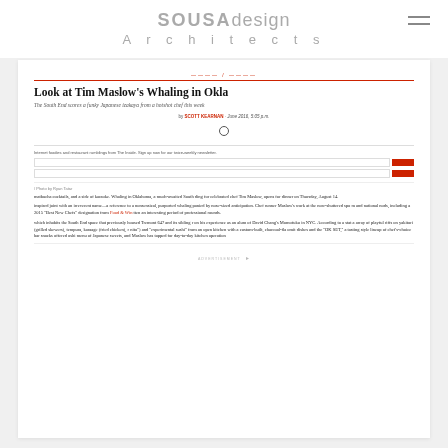[Figure (logo): SOUSA design Architects logo in gray text]
[Figure (screenshot): Screenshot of an Eater article: 'Look at Tim Maslow's Whaling in Oklahoma' with subtitle, byline by Scott Kearnan, newsletter signup form with red buttons, article body text about Japanese izakaya restaurant opening in South End Boston.]